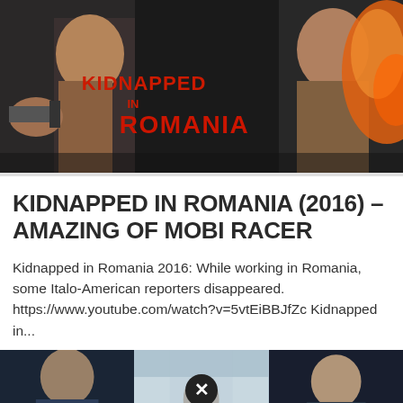[Figure (photo): Movie banner for 'Kidnapped in Romania' showing dark action scene with men holding guns and orange explosion effect. Red title text 'KIDNAPPED IN ROMANIA' overlaid on image.]
KIDNAPPED IN ROMANIA (2016) – AMAZING OF MOBI RACER
Kidnapped in Romania 2016: While working in Romania, some Italo-American reporters disappeared. https://www.youtube.com/watch?v=5vtEiBBJfZc Kidnapped in...
[Figure (photo): Row of three movie thumbnail images showing close-up of characters from thriller/horror films in dark and blue-tinted color grading. A circular close/X button overlays the center of the row.]
[Figure (photo): Pale yellow advertisement block below the thumbnails row.]
[Figure (photo): Bottom strip partially showing another movie thumbnail with text 'the' visible.]